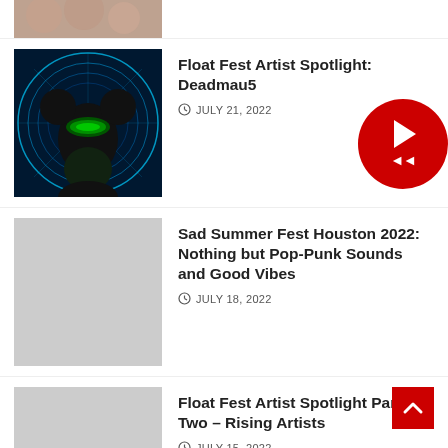[Figure (photo): Partial top image of festival crowd]
[Figure (photo): Deadmau5 DJ performing with neon blue circular light display backdrop]
Float Fest Artist Spotlight: Deadmau5
JULY 21, 2022
[Figure (photo): Gray placeholder image for Sad Summer Fest article]
Sad Summer Fest Houston 2022: Nothing but Pop-Punk Sounds and Good Vibes
JULY 18, 2022
[Figure (photo): Gray placeholder image for Float Fest Artist Spotlight Part Two article]
Float Fest Artist Spotlight Part Two – Rising Artists
JULY 15, 2022